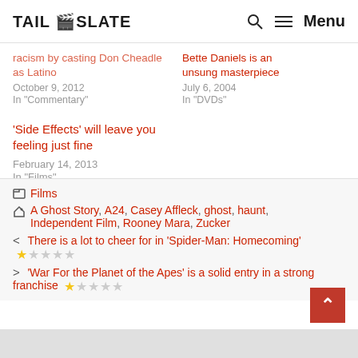TAIL SLATE — Menu
racism by casting Don Cheadle as Latino
October 9, 2012
In "Commentary"
Bette Daniels is an unsung masterpiece
July 6, 2004
In "DVDs"
'Side Effects' will leave you feeling just fine
February 14, 2013
In "Films"
Films
A Ghost Story, A24, Casey Affleck, ghost, haunt, Independent Film, Rooney Mara, Zucker
< There is a lot to cheer for in 'Spider-Man: Homecoming'
> 'War For the Planet of the Apes' is a solid entry in a strong franchise